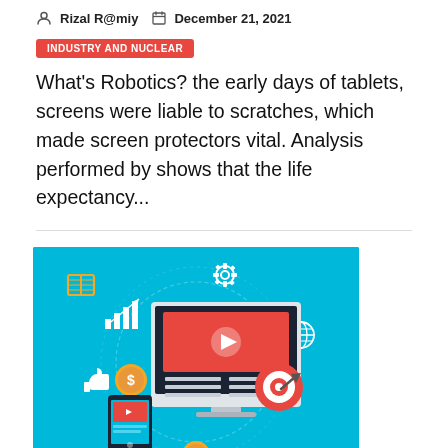Rizal R@miy  December 21, 2021
INDUSTRY AND NUCLEAR
What's Robotics? the early days of tablets, screens were liable to scratches, which made screen protectors vital. Analysis performed by shows that the life expectancy...
[Figure (illustration): Blue background illustration showing a digital marketing or content strategy concept: a computer monitor displaying a video player with a play button, surrounded by icons including a target/bullseye with arrow, a globe, a thumbs up, a dollar coin, bar chart with upward arrow, a gear/settings icon, and a mobile phone showing a video. A decorative circular swirl pattern is also visible. A gold/yellow open book icon is in the top-left corner of the image.]